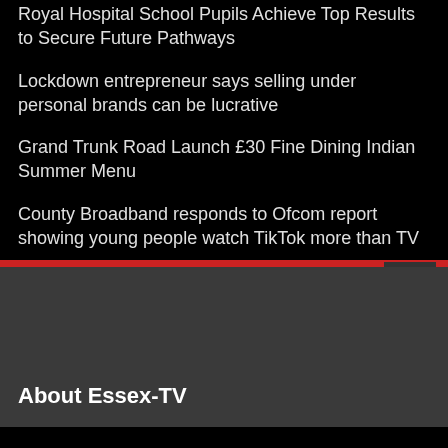Royal Hospital School Pupils Achieve Top Results to Secure Future Pathways
Lockdown entrepreneur says selling under personal brands can be lucrative
Grand Trunk Road Launch £30 Fine Dining Indian Summer Menu
County Broadband responds to Ofcom report showing young people watch TikTok more than TV
About Essex-TV